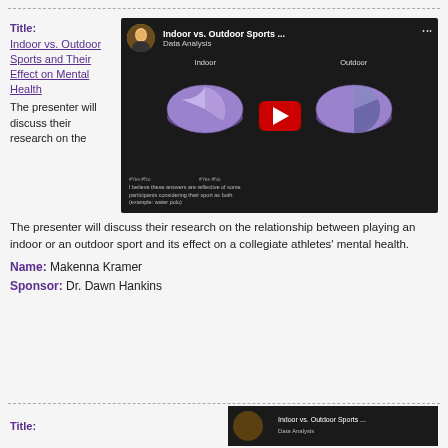Title: Indoor vs. Outdoor Sports and Their Effect on Mental Health
[Figure (screenshot): YouTube video thumbnail for 'Indoor vs. Outdoor Sports... Data Analysis' showing two pie charts labeled Indoor and Outdoor on a dark background, with a red play button overlay]
The presenter will discuss their research on the relationship between playing an indoor or an outdoor sport and its effect on a collegiate athletes' mental health.
Name: Makenna Kramer
Sponsor: Dr. Dawn Hankins
Title: